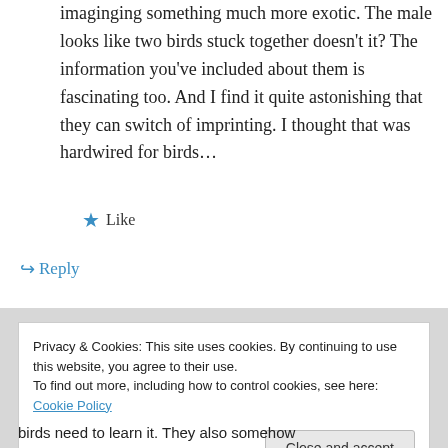imaginging something much more exotic. The male looks like two birds stuck together doesn't it? The information you've included about them is fascinating too. And I find it quite astonishing that they can switch of imprinting. I thought that was hardwired for birds…
★ Like
↳ Reply
Privacy & Cookies: This site uses cookies. By continuing to use this website, you agree to their use.
To find out more, including how to control cookies, see here: Cookie Policy
Close and accept
birds need to learn it. They also somehow